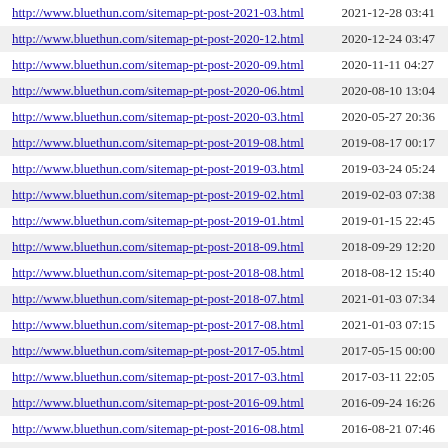| URL | Last Modified |
| --- | --- |
| http://www.bluethun.com/sitemap-pt-post-2021-03.html | 2021-12-28 03:41 |
| http://www.bluethun.com/sitemap-pt-post-2020-12.html | 2020-12-24 03:47 |
| http://www.bluethun.com/sitemap-pt-post-2020-09.html | 2020-11-11 04:27 |
| http://www.bluethun.com/sitemap-pt-post-2020-06.html | 2020-08-10 13:04 |
| http://www.bluethun.com/sitemap-pt-post-2020-03.html | 2020-05-27 20:36 |
| http://www.bluethun.com/sitemap-pt-post-2019-08.html | 2019-08-17 00:17 |
| http://www.bluethun.com/sitemap-pt-post-2019-03.html | 2019-03-24 05:24 |
| http://www.bluethun.com/sitemap-pt-post-2019-02.html | 2019-02-03 07:38 |
| http://www.bluethun.com/sitemap-pt-post-2019-01.html | 2019-01-15 22:45 |
| http://www.bluethun.com/sitemap-pt-post-2018-09.html | 2018-09-29 12:20 |
| http://www.bluethun.com/sitemap-pt-post-2018-08.html | 2018-08-12 15:40 |
| http://www.bluethun.com/sitemap-pt-post-2018-07.html | 2021-01-03 07:34 |
| http://www.bluethun.com/sitemap-pt-post-2017-08.html | 2021-01-03 07:15 |
| http://www.bluethun.com/sitemap-pt-post-2017-05.html | 2017-05-15 00:00 |
| http://www.bluethun.com/sitemap-pt-post-2017-03.html | 2017-03-11 22:05 |
| http://www.bluethun.com/sitemap-pt-post-2016-09.html | 2016-09-24 16:26 |
| http://www.bluethun.com/sitemap-pt-post-2016-08.html | 2016-08-21 07:46 |
| http://www.bluethun.com/sitemap-pt-post-2016-07.html | 2016-07-26 22:18 |
| http://www.bluethun.com/sitemap-pt-post-2016-05.html | 2016-05-15 19:36 |